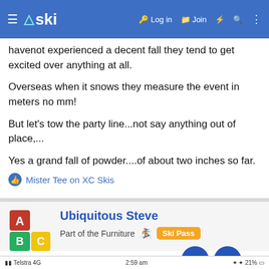≡ △ski  🔑 Log in  🗂 Join  ⚡ 🔍 ⋮
havenot experienced a decent fall they tend to get excited over anything at all.
Overseas when it snows they measure the event in meters no mm!
But let's tow the party line...not say anything out of place,...
Yes a grand fall of powder....of about two inches so far.
👍 Mister Tee on XC Skis
Ubiquitous Steve
Part of the Furniture 🎿 Ski Pass
Aug 7, 2018
Telstra 4G   2:59 am   ✦ ✦ 21%